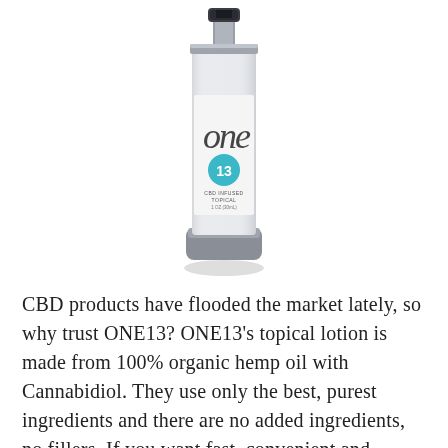[Figure (photo): A tall white cylindrical pump bottle with gray cap and base. The label reads 'one' in large stylized lowercase letters with a teal circle containing '13'. Below the circle it reads 'CBD INFUSED TOPICAL' and '1 OZ (30mL)'. On the side of the bottle it reads 'THE POWER OF ONE'. The bottle has a silver/gray pump dispenser on top and a gray base.]
CBD products have flooded the market lately, so why trust ONE13? ONE13's topical lotion is made from 100% organic hemp oil with Cannabidiol. They use only the best, purest ingredients and there are no added ingredients, no fillers. If you want fast, convenient and reliable pain relief, ONE13 is